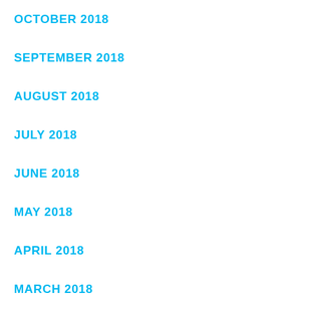OCTOBER 2018
SEPTEMBER 2018
AUGUST 2018
JULY 2018
JUNE 2018
MAY 2018
APRIL 2018
MARCH 2018
FEBRUARY 2018